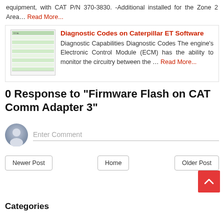equipment, with CAT P/N 370-3830. -Additional installed for the Zone 2 Area… Read More...
[Figure (screenshot): Thumbnail screenshot of a document with green and white rows]
Diagnostic Codes on Caterpillar ET Software
Diagnostic Capabilities Diagnostic Codes The engine's Electronic Control Module (ECM) has the ability to monitor the circuitry between the … Read More...
0 Response to "Firmware Flash on CAT Comm Adapter 3"
Enter Comment
Newer Post | Home | Older Post
Categories